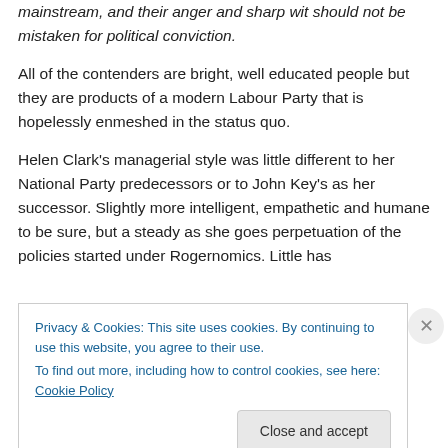mainstream, and their anger and sharp wit should not be mistaken for political conviction.
All of the contenders are bright, well educated people but they are products of a modern Labour Party that is hopelessly enmeshed in the status quo.
Helen Clark's managerial style was little different to her National Party predecessors or to John Key's as her successor. Slightly more intelligent, empathetic and humane to be sure, but a steady as she goes perpetuation of the policies started under Rogernomics. Little has
Privacy & Cookies: This site uses cookies. By continuing to use this website, you agree to their use.
To find out more, including how to control cookies, see here: Cookie Policy
Close and accept